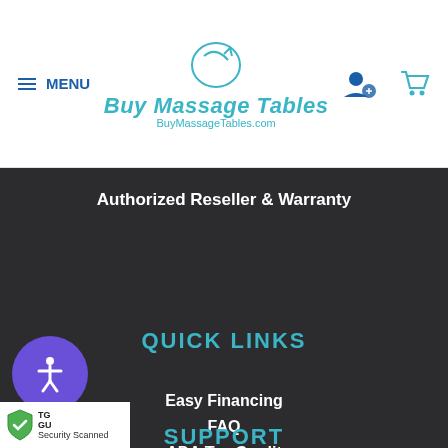Buy Massage Tables - BuyMassageTables.com
Authorized Reseller & Warranty
QUICK LINKS
Easy Financing
FAQ
ADA Tax Credit
Best Price Guarantee
Educational Discount
Military Discount
New Dealer Information
SUPPORT